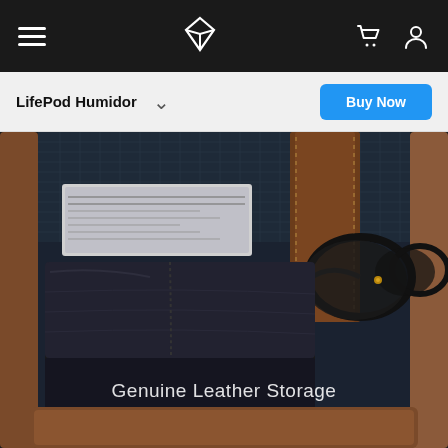LifePod Humidor navigation bar with hamburger menu, logo, cart and user icons
LifePod Humidor
Buy Now
[Figure (photo): Close-up interior of a LifePod Humidor case showing genuine leather storage compartments with black leather wallet and sunglasses resting inside a brown leather-lined case with metal frame]
Genuine Leather Storage